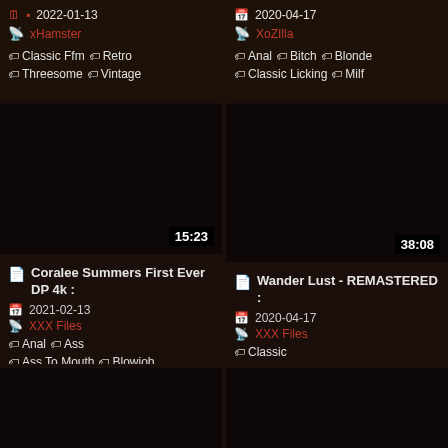2022-01-13 | xHamster | Tags: Classic Ffm, Retro, Threesome, Vintage
2020-04-17 | XoZIlla | Tags: Anal, Bitch, Blonde, Classic Licking, Milf
[Figure (screenshot): Dark video thumbnail with duration badge 15:23]
Coralee Summers First Ever DP 4k :
2021-02-13
XXX Files
Tags: Anal, Ass, Ass To Mouth, Blowjob
[Figure (screenshot): Dark video thumbnail with duration badge 38:08]
Wander Lust - REMASTERED :
2020-04-17
XXX Files
Tags: Classic
[Figure (screenshot): Dark video thumbnail bottom left, partially visible]
[Figure (screenshot): Dark video thumbnail bottom right, partially visible]